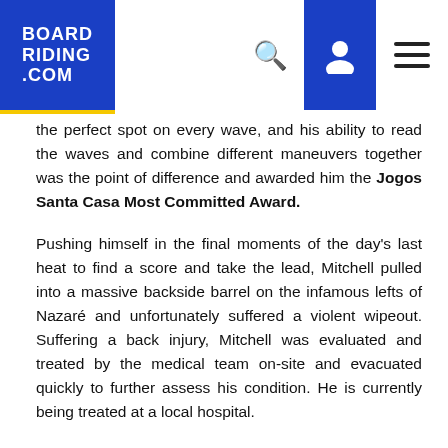BOARD RIDING .COM
the perfect spot on every wave, and his ability to read the waves and combine different maneuvers together was the point of difference and awarded him the Jogos Santa Casa Most Committed Award.
Pushing himself in the final moments of the day's last heat to find a score and take the lead, Mitchell pulled into a massive backside barrel on the infamous lefts of Nazaré and unfortunately suffered a violent wipeout. Suffering a back injury, Mitchell was evaluated and treated by the medical team on-site and evacuated quickly to further assess his condition. He is currently being treated at a local hospital.
With the TUDOR Nazaré Tow Surfing Challenge pres. by Jogos Santa Casa completed today, the best big wave surfers on the planet will shift their focus again to the Pacific and track swells around Hawaii in anticipation of the